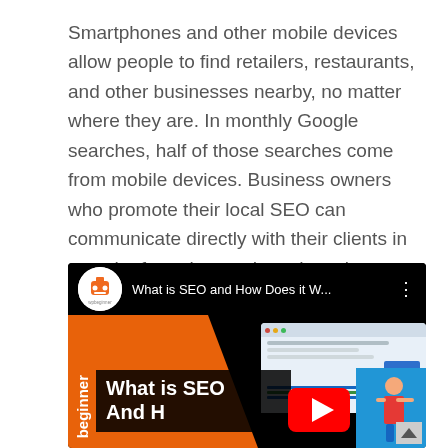Smartphones and other mobile devices allow people to find retailers, restaurants, and other businesses nearby, no matter where they are. In monthly Google searches, half of those searches come from mobile devices. Business owners who promote their local SEO can communicate directly with their clients in search of nearby goods and services. Many small businesses can use SEO for their online activities. It comes with a cost-effective method. Therefore, it helps most small businesses get many benefits.
[Figure (screenshot): Embedded YouTube video thumbnail for 'What is SEO and How Does it W...' by wpbeginner channel. Shows orange and blue background with text 'What is SEO And H...' and YouTube play button.]